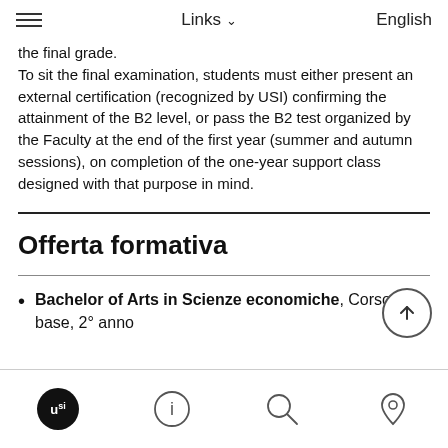Links  English
the final grade.
To sit the final examination, students must either present an external certification (recognized by USI) confirming the attainment of the B2 level, or pass the B2 test organized by the Faculty at the end of the first year (summer and autumn sessions), on completion of the one-year support class designed with that purpose in mind.
Offerta formativa
Bachelor of Arts in Scienze economiche, Corso di base, 2° anno